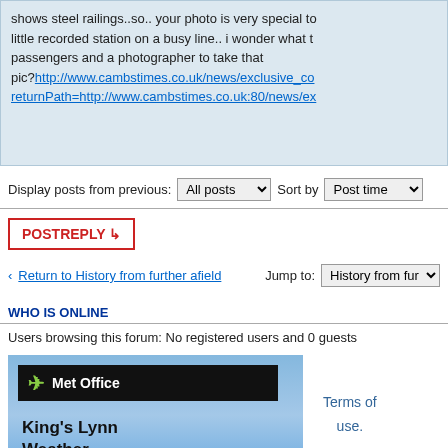shows steel railings..so.. your photo is very special to.. little recorded station on a busy line.. i wonder what the passengers and a photographer to take that pic?http://www.cambstimes.co.uk/news/exclusive_co returnPath=http://www.cambstimes.co.uk:80/news/ex
Display posts from previous: All posts  Sort by  Post time
POSTREPLY
Return to History from further afield   Jump to: History from fur
WHO IS ONLINE
Users browsing this forum: No registered users and 0 guests
[Figure (other): Met Office King's Lynn Weather advertisement banner with cloudy sky background]
Terms of use.
| Local Links |
| --- |
|  |